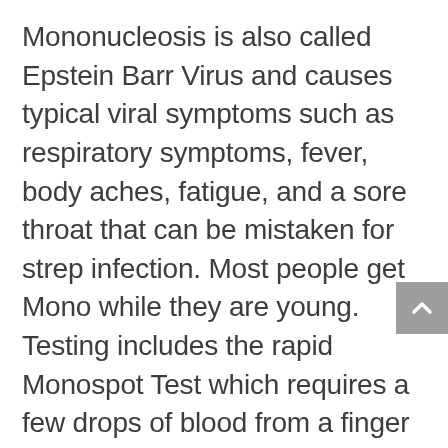Mononucleosis is also called Epstein Barr Virus and causes typical viral symptoms such as respiratory symptoms, fever, body aches, fatigue, and a sore throat that can be mistaken for strep infection. Most people get Mono while they are young. Testing includes the rapid Monospot Test which requires a few drops of blood from a finger stick. The test takes about 15 minutes. Although there is no cure for Mono, it is important to differentiate from other infections due to the possibility of rare complications, especially in young athletes.